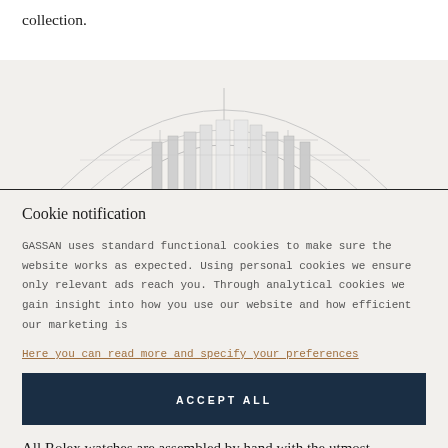collection.
[Figure (illustration): Partial architectural/technical illustration of a watch bezel rendered in light gray line art on a beige background, showing the curved top arc and internal structure of a Rolex watch crown.]
Cookie notification
GASSAN uses standard functional cookies to make sure the website works as expected. Using personal cookies we ensure only relevant ads reach you. Through analytical cookies we gain insight into how you use our website and how efficient our marketing is
Here you can read more and specify your preferences
ACCEPT ALL
All Rolex watches are assembled by hand with the utmost